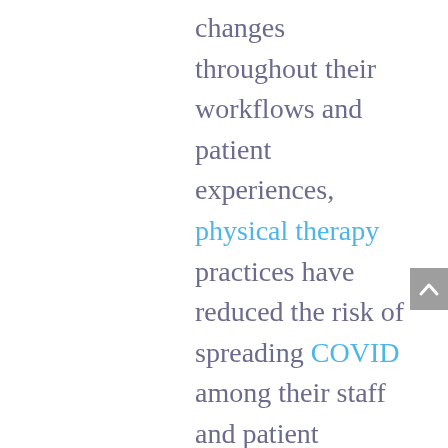changes throughout their workflows and patient experiences, physical therapy practices have reduced the risk of spreading COVID among their staff and patient populations, while continuing to deliver needed services to the public.